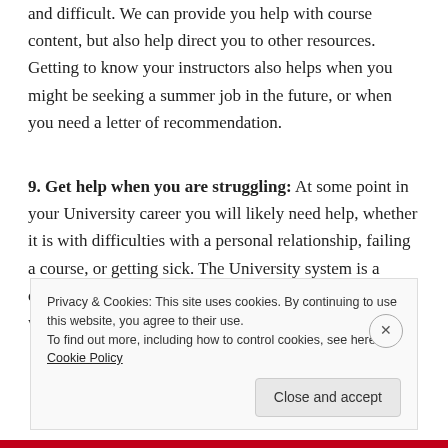and difficult. We can provide you help with course content, but also help direct you to other resources. Getting to know your instructors also helps when you might be seeking a summer job in the future, or when you need a letter of recommendation.
9. Get help when you are struggling: At some point in your University career you will likely need help, whether it is with difficulties with a personal relationship, failing a course, or getting sick. The University system is a compassionate and collegial environment and it's a place with a lot of wonderful resources to help you when
Privacy & Cookies: This site uses cookies. By continuing to use this website, you agree to their use.
To find out more, including how to control cookies, see here: Cookie Policy
Close and accept